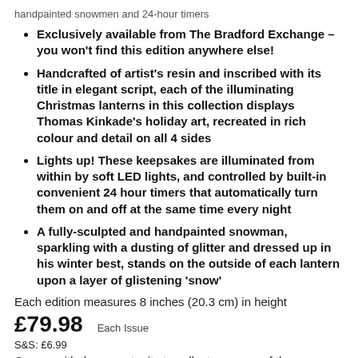handpainted snowmen and 24-hour timers
Exclusively available from The Bradford Exchange – you won't find this edition anywhere else!
Handcrafted of artist's resin and inscribed with its title in elegant script, each of the illuminating Christmas lanterns in this collection displays Thomas Kinkade's holiday art, recreated in rich colour and detail on all 4 sides
Lights up! These keepsakes are illuminated from within by soft LED lights, and controlled by built-in convenient 24 hour timers that automatically turn them on and off at the same time every night
A fully-sculpted and handpainted snowman, sparkling with a dusting of glitter and dressed up in his winter best, stands on the outside of each lantern upon a layer of glistening 'snow'
Each edition measures 8 inches (20.3 cm) in height
£79.98   Each Issue
S&S: £6.99
Comes with the opportunity to collect as many of the remaining issues as